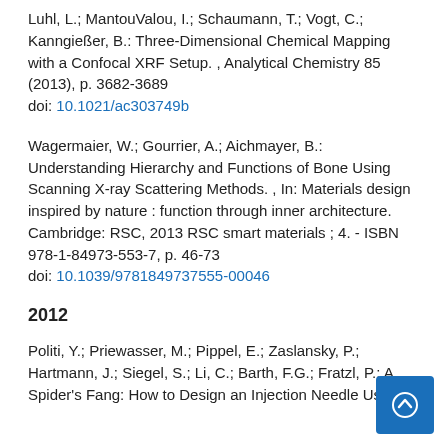Luhl, L.; MantouValou, I.; Schaumann, T.; Vogt, C.; Kanngießer, B.: Three-Dimensional Chemical Mapping with a Confocal XRF Setup. , Analytical Chemistry 85 (2013), p. 3682-3689
doi: 10.1021/ac303749b
Wagermaier, W.; Gourrier, A.; Aichmayer, B.: Understanding Hierarchy and Functions of Bone Using Scanning X-ray Scattering Methods. , In: Materials design inspired by nature : function through inner architecture. Cambridge: RSC, 2013 RSC smart materials ; 4. - ISBN 978-1-84973-553-7, p. 46-73
doi: 10.1039/9781849737555-00046
2012
Politi, Y.; Priewasser, M.; Pippel, E.; Zaslansky, P.; Hartmann, J.; Siegel, S.; Li, C.; Barth, F.G.; Fratzl, P.: A Spider's Fang: How to Design an Injection Needle Using